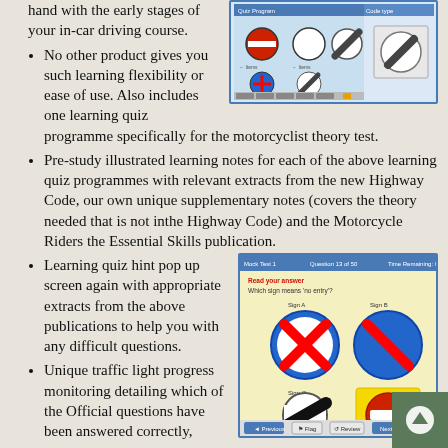One to work hand in hand with the early stages of your in-car driving course.
[Figure (screenshot): Screenshot of a driving theory quiz software showing road signs including a no-entry sign, circular signs, and a diagonal bar sign with quiz interface buttons.]
No other product gives you such learning flexibility or ease of use. Also includes one learning quiz programme specifically for the motorcyclist theory test.
Pre-study illustrated learning notes for each of the above learning quiz programmes with relevant extracts from the new Highway Code, our own unique supplementary notes (covers the theory needed that is not inthe Highway Code) and the Motorcycle Riders the Essential Skills publication.
[Figure (screenshot): Screenshot of a mock theory test interface showing four road signs: a circular blue/red prohibition sign with X, a no-parking sign, a diagonal bar sign, and a circular red no-entry sign on yellow background, with Previous, Flag, Review and Next buttons.]
Learning quiz hint pop up screen again with appropriate extracts from the above publications to help you with any difficult questions.
Unique traffic light progress monitoring detailing which of the Official questions have been answered correctly,